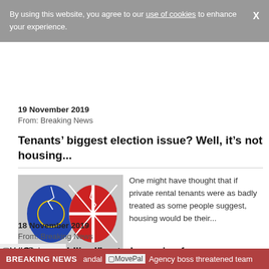By using this website, you agree to our use of cookies to enhance your experience.
19 November 2019
From: Breaking News
Tenants’ biggest election issue? Well, it’s not housing...
One might have thought that if private rental tenants were as badly treated as some people suggest, housing would be their...
[Figure (photo): Two broken egg-shaped objects showing EU and UK flags, symbolising Brexit.]
18 November 2019
From: Breaking News
[Figure (logo): MovePal logo]
“Stop meddling!” - stark warning from surveyors to
BREAKING NEWS   andal   MovePal   Agency boss threatened team